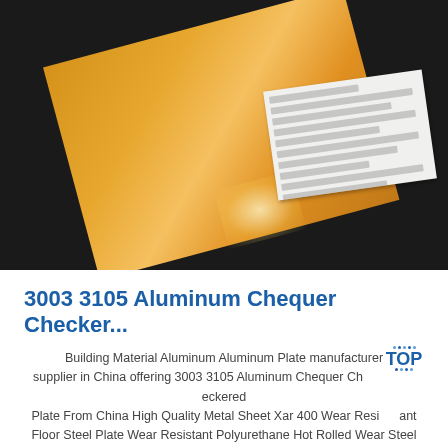[Figure (photo): Photo of a golden/bronze aluminum checker plate sheet with a paper label/document on top, against a dark background]
3003 3105 Aluminum Chequer Checker...
Building Material Aluminum Aluminum Plate manufacturer supplier in China offering 3003 3105 Aluminum Chequer Checkered Plate From China High Quality Metal Sheet Xar 400 Wear Resistant Floor Steel Plate Wear Resistant Polyurethane Hot Rolled Wear Steel Plate and so on.